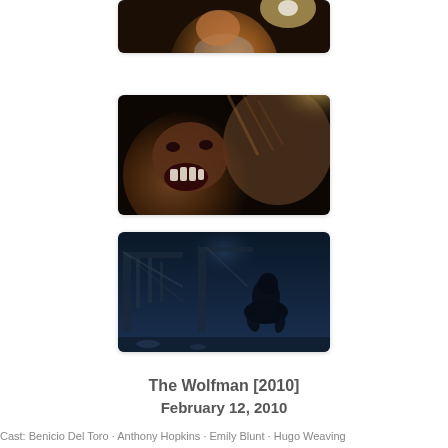[Figure (photo): Partial view of an elderly man with white beard in warm amber lighting, movie still from The Wolfman 2010]
[Figure (photo): Close-up of a werewolf creature snarling with mouth open, dark dramatic lighting, movie still from The Wolfman 2010]
[Figure (photo): Night scene with dark figure crouching on a bridge structure in blue moonlit atmosphere, movie still from The Wolfman 2010]
The Wolfman [2010]
February 12, 2010
Cast: Benicio Del Toro · Anthony Hopkins · Emily Blunt · Hugo Weaving